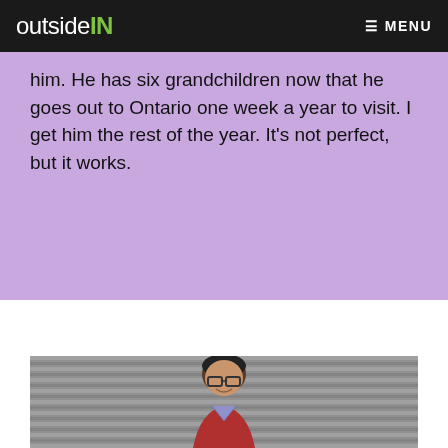outsideIN  ☰ MENU
him. He has six grandchildren now that he goes out to Ontario one week a year to visit. I get him the rest of the year. It's not perfect, but it works.
[Figure (photo): Portrait photo of a young man with dark hair and glasses, wearing a red plaid shirt, smiling in front of a corrugated metal wall background. Black and white background.]